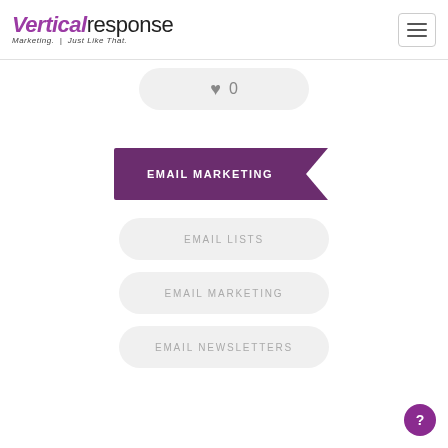[Figure (screenshot): VerticalResponse logo with purple italic 'Vertical' and black 'response' text, tagline 'Marketing. Just Like That.' and a hamburger menu icon]
[Figure (screenshot): Heart icon with count '0' in a rounded pill button]
EMAIL MARKETING
EMAIL LISTS
EMAIL MARKETING
EMAIL NEWSLETTERS
[Figure (screenshot): Purple circular help/question mark button in bottom right corner]